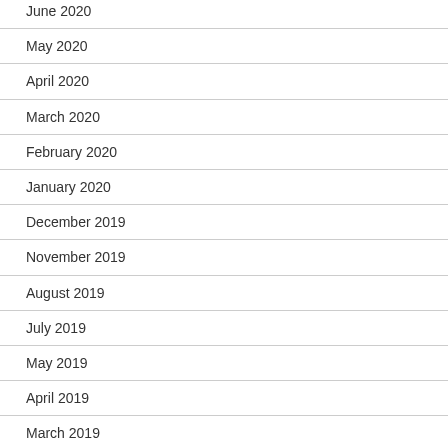June 2020
May 2020
April 2020
March 2020
February 2020
January 2020
December 2019
November 2019
August 2019
July 2019
May 2019
April 2019
March 2019
January 2019